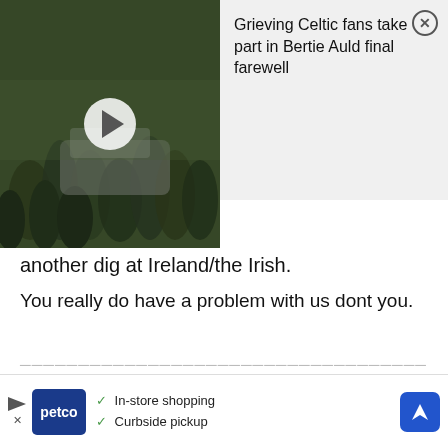[Figure (screenshot): Video thumbnail of a crowd at what appears to be a funeral or outdoor gathering, dark green tones, with a white circular play button in the center]
Grieving Celtic fans take part in Bertie Auld final farewell
another dig at Ireland/the Irish.
You really do have a problem with us dont you.
-------------------------------------------
Only in response to Irish insults to the Jocks.
You can dish it out ,but you can`t take it.
I don`t have a problem with you.
[Figure (screenshot): Petco advertisement banner with play/X icons, Petco logo, In-store shopping and Curbside pickup checkmarks, and a blue navigation arrow icon]